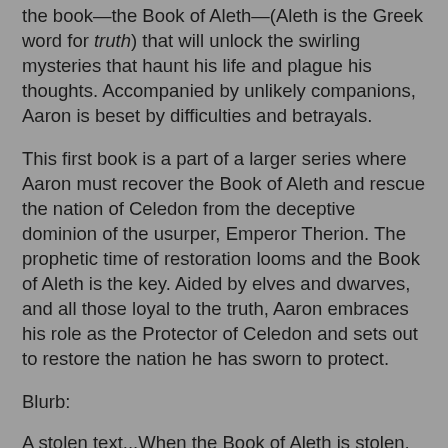the book—the Book of Aleth—(Aleth is the Greek word for truth) that will unlock the swirling mysteries that haunt his life and plague his thoughts. Accompanied by unlikely companions, Aaron is beset by difficulties and betrayals.
This first book is a part of a larger series where Aaron must recover the Book of Aleth and rescue the nation of Celedon from the deceptive dominion of the usurper, Emperor Therion. The prophetic time of restoration looms and the Book of Aleth is the key. Aided by elves and dwarves, and all those loyal to the truth, Aaron embraces his role as the Protector of Celedon and sets out to restore the nation he has sworn to protect.
Blurb:
A stolen text...When the Book of Aleth is stolen, Aaron, captain of the Royal Guard, is ordered by Emperor Therion to reclaim the ancient tome. The mission thrusts Aaron into a world he's never known--a world of elves and dwarves, races long thought extinct; a world where everything he has known and believed is a lie. A secret past... Forced to challenge his